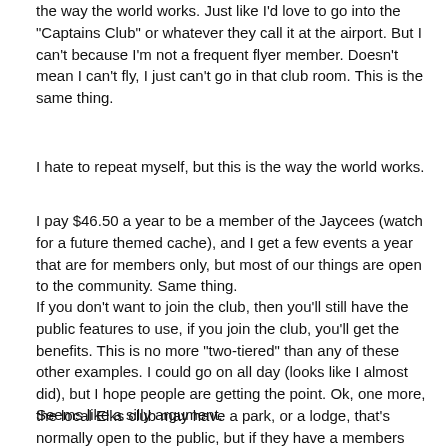the way the world works. Just like I'd love to go into the "Captains Club" or whatever they call it at the airport. But I can't because I'm not a frequent flyer member. Doesn't mean I can't fly, I just can't go in that club room. This is the same thing.
I hate to repeat myself, but this is the way the world works.
I pay $46.50 a year to be a member of the Jaycees (watch for a future themed cache), and I get a few events a year that are for members only, but most of our things are open to the community. Same thing.
If you don't want to join the club, then you'll still have the public features to use, if you join the club, you'll get the benefits. This is no more "two-tiered" than any of these other examples. I could go on all day (looks like I almost did), but I hope people are getting the point. Ok, one more, the local Elks club may have a park, or a lodge, that's normally open to the public, but if they have a members only event, am I being denied if I can't go?
Seems like a silly argument.
-------------------